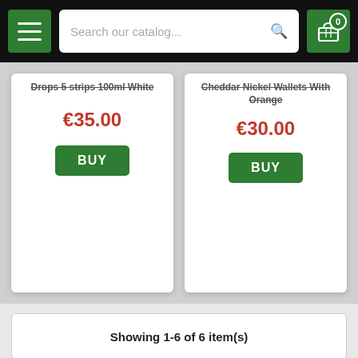[Figure (screenshot): Mobile app navigation bar with hamburger menu button (green), search bar with placeholder 'Search our catalog...', and green shopping cart icon with badge showing 0]
[Figure (screenshot): Product card (left): partially visible product name, price €35.00 in red, green BUY button]
[Figure (screenshot): Product card (right): product name ending with 'Orange', price €30.00 in red, green BUY button]
Showing 1-6 of 6 item(s)
HOME
Poppers
Erection Products
Sales